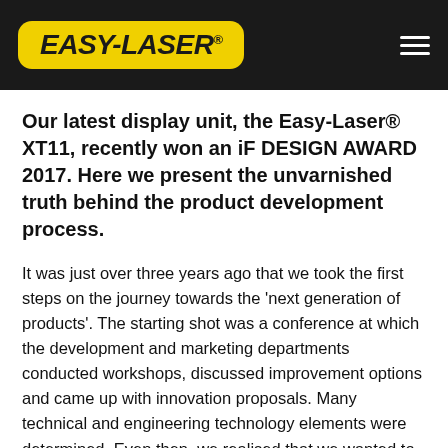[Figure (logo): Easy-Laser logo in yellow rounded rectangle on black header bar, with hamburger menu icon on right]
Our latest display unit, the Easy-Laser® XT11, recently won an iF DESIGN AWARD 2017. Here we present the unvarnished truth behind the product development process.
It was just over three years ago that we took the first steps on the journey towards the 'next generation of products'. The starting shot was a conference at which the development and marketing departments conducted workshops, discussed improvement options and came up with innovation proposals. Many technical and engineering technology elements were determined. Even then, we realised that we wanted to take a significant step forwards, and that this would entail a great deal of work for us.